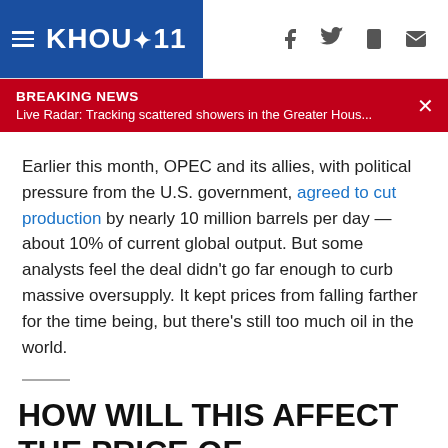KHOU 11
BREAKING NEWS
Live Radar: Tracking scattered showers in the Greater Hous...
Earlier this month, OPEC and its allies, with political pressure from the U.S. government, agreed to cut production by nearly 10 million barrels per day — about 10% of current global output. But some analysts feel the deal didn't go far enough to curb massive oversupply. It kept prices from falling farther for the time being, but there's still too much oil in the world.
HOW WILL THIS AFFECT THE PRICE OF GASOLINE?